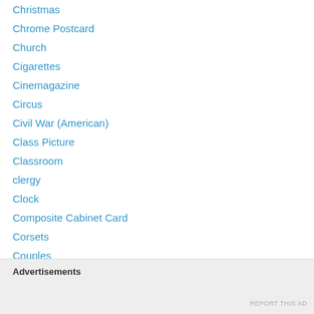Christmas
Chrome Postcard
Church
Cigarettes
Cinemagazine
Circus
Civil War (American)
Class Picture
Classroom
clergy
Clock
Composite Cabinet Card
Corsets
Couples
Cows
CRICKET
Croatia
Advertisements